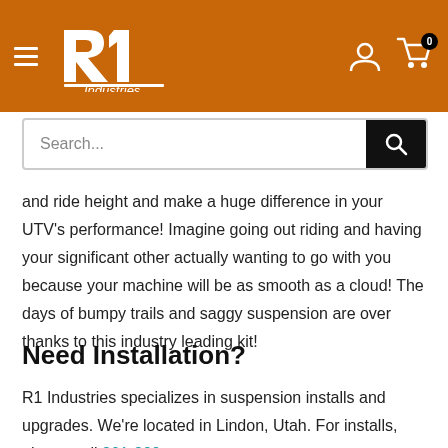[Figure (logo): R1 Industries logo with hamburger menu on orange/brown header bar, with user account icon and shopping cart with 0 badge on the right]
Search...
and ride height and make a huge difference in your UTV's performance! Imagine going out riding and having your significant other actually wanting to go with you because your machine will be as smooth as a cloud! The days of bumpy trails and saggy suspension are over thanks to this industry leading kit!
Need Installation?
R1 Industries specializes in suspension installs and upgrades. We're located in Lindon, Utah. For installs, please call 801-899-